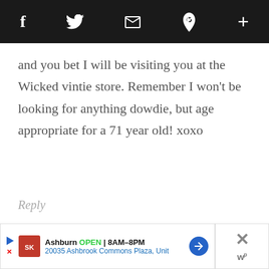[Figure (screenshot): Dark top navigation bar with social sharing icons: Facebook (f), Twitter (bird), email (envelope), Pinterest (P), and plus (+) sign]
and you bet I will be visiting you at the Wicked vintie store. Remember I won't be looking for anything dowdie, but age appropriate for a 71 year old! xoxo
Reply
genx says
[Figure (screenshot): Advertisement banner: Smoothie King Ashburn OPEN 8AM-8PM, 20035 Ashbrook Commons Plaza, Unit, with navigation arrow icon and close button]